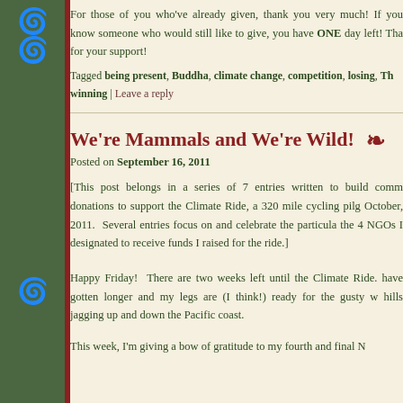For those of you who've already given, thank you very much! If you know someone who would still like to give, you have ONE day left!  Tha... for your support!
Tagged being present, Buddha, climate change, competition, losing, Th... winning | Leave a reply
We're Mammals and We're Wild!
Posted on September 16, 2011
[This post belongs in a series of 7 entries written to build comm... donations to support the Climate Ride, a 320 mile cycling pilg... October, 2011.  Several entries focus on and celebrate the particula... the 4 NGOs I designated to receive funds I raised for the ride.]
Happy Friday!  There are two weeks left until the Climate Ride.... have gotten longer and my legs are (I think!) ready for the gusty w... hills jagging up and down the Pacific coast.
This week, I'm giving a bow of gratitude to my fourth and final N...